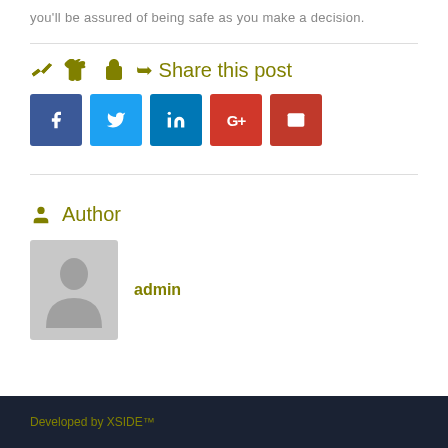you'll be assured of being safe as you make a decision.
Share this post
[Figure (infographic): Social share buttons: Facebook (blue), Twitter (light blue), LinkedIn (blue), Google+ (red), Email (dark red)]
Author
[Figure (photo): Default grey user avatar silhouette]
admin
Developed by XSIDE™